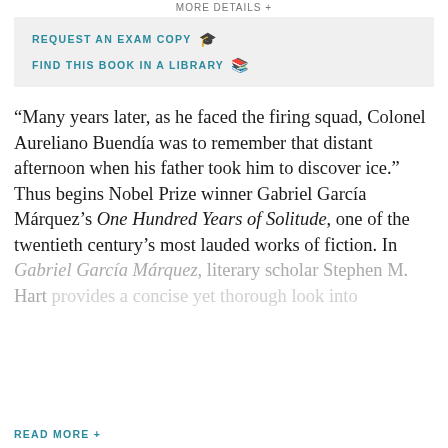MORE DETAILS +
REQUEST AN EXAM COPY 🎓
FIND THIS BOOK IN A LIBRARY 📖
“Many years later, as he faced the firing squad, Colonel Aureliano Buendía was to remember that distant afternoon when his father took him to discover ice.” Thus begins Nobel Prize winner Gabriel García Márquez’s One Hundred Years of Solitude, one of the twentieth century’s most lauded works of fiction. In Gabriel García Márquez, literary scholar Stephen M. Hart provides a concise yet thorough look into
READ MORE +